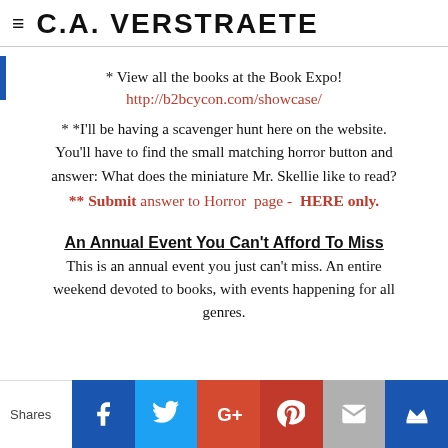≡ C.A. VERSTRAETE
* View all the books at the Book Expo!
http://b2bcycon.com/showcase/
* *I'll be having a scavenger hunt here on the website. You'll have to find the small matching horror button and answer: What does the miniature Mr. Skellie like to read?
** Submit answer to Horror  page -  HERE only.
An Annual Event You Can't Afford To Miss
This is an annual event you just can't miss. An entire weekend devoted to books, with events happening for all genres.
Shares | Facebook | Twitter | Google+ | Pinterest | Email | Crown